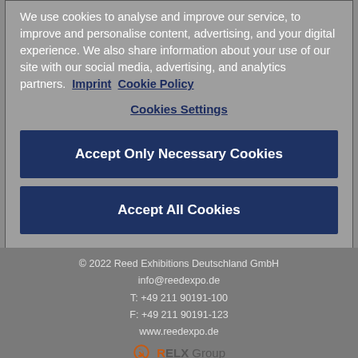We use cookies to analyse and improve our service, to improve and personalise content, advertising, and your digital experience. We also share information about your use of our site with our social media, advertising, and analytics partners.  Imprint  Cookie Policy
Cookies Settings
Accept Only Necessary Cookies
Accept All Cookies
© 2022 Reed Exhibitions Deutschland GmbH
info@reedexpo.de
T: +49 211 90191-100
F: +49 211 90191-123
www.reedexpo.de
RELX Group